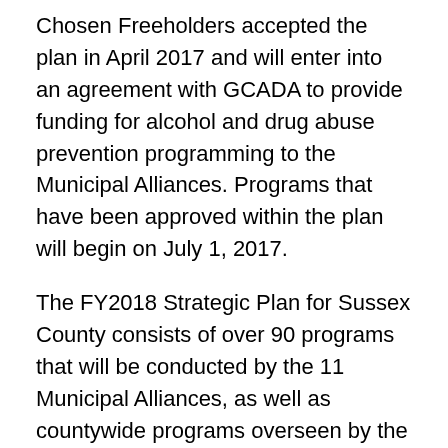Chosen Freeholders accepted the plan in April 2017 and will enter into an agreement with GCADA to provide funding for alcohol and drug abuse prevention programming to the Municipal Alliances. Programs that have been approved within the plan will begin on July 1, 2017.
The FY2018 Strategic Plan for Sussex County consists of over 90 programs that will be conducted by the 11 Municipal Alliances, as well as countywide programs overseen by the Department of Health and Human Services, Division of Community and Youth Services. Readers may be familiar with many of these programs but do not realize the connection between them and the Municipal Alliances. The grant award for Sussex County is $210,366.00.
There are 11 Municipal Alliance Committees representing 22 of the 24 communities in Sussex County. The 11 Municipal Alliances and the programs they provide...